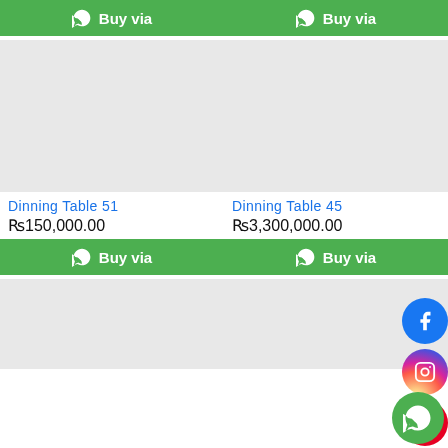[Figure (screenshot): E-commerce product listing grid showing dining tables with WhatsApp buy buttons, product images (placeholder grey), product names, prices, and social media icons (Facebook, Instagram, Pinterest, WhatsApp).]
Buy via
Buy via
Dinning Table 51
₨150,000.00
Dinning Table 45
₨3,300,000.00
Buy via
Buy via